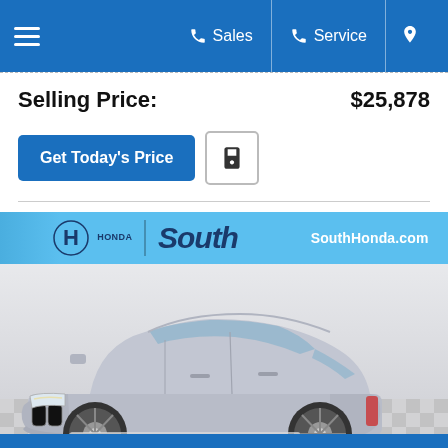Sales | Service | Location
Selling Price: $25,878
Get Today's Price
[Figure (photo): Silver BMW 5-series sedan photographed in front of a South Honda dealership banner backdrop on a checkered floor.]